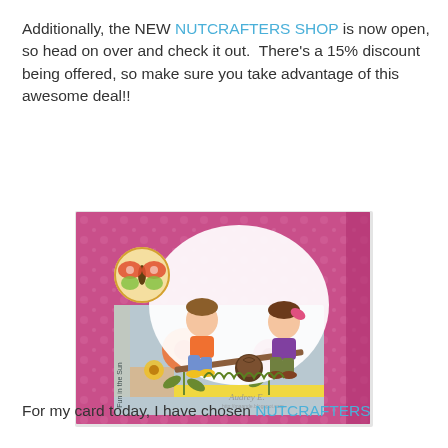Additionally, the NEW NUTCRAFTERS SHOP is now open, so head on over and check it out.  There's a 15% discount being offered, so make sure you take advantage of this awesome deal!!
[Figure (photo): A handmade greeting card with a pink floral background, featuring two cartoon children (a boy in orange and a girl in purple) sitting on a seesaw, with a butterfly circle embellishment and flower decorations. Signed by Audrey E.]
For my card today, I have chosen NUTCRAFTERS